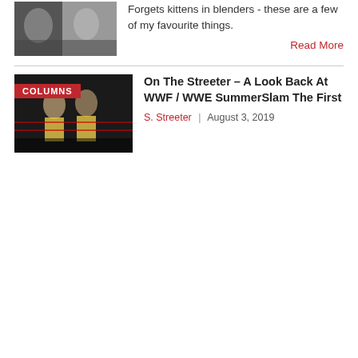[Figure (photo): Photo of two wrestlers/performers at the top of the page]
Forgets kittens in blenders - these are a few of my favourite things.
Read More
[Figure (photo): Photo of wrestlers with COLUMNS badge overlay - WWF/WWE SummerSlam]
On The Streeter – A Look Back At WWF / WWE SummerSlam The First
S. Streeter | August 3, 2019